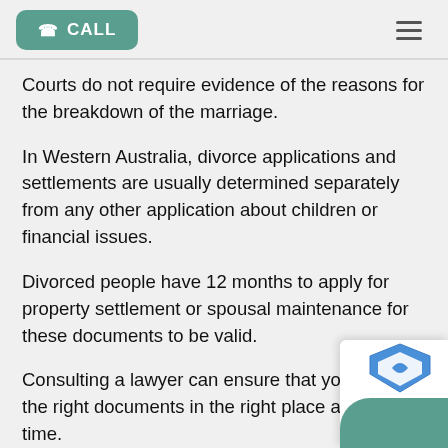CALL
Courts do not require evidence of the reasons for the breakdown of the marriage.
In Western Australia, divorce applications and settlements are usually determined separately from any other application about children or financial issues.
Divorced people have 12 months to apply for property settlement or spousal maintenance for these documents to be valid.
Consulting a lawyer can ensure that you have all the right documents in the right place at the right time.